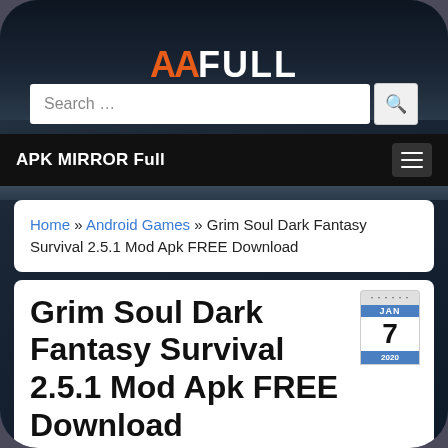[Figure (screenshot): Screenshot of APK Mirror Full website on a smartphone, showing the AAFULL logo, search bar, navigation bar with 'APK MIRROR Full', breadcrumb navigation, and post title 'Grim Soul Dark Fantasy Survival 2.5.1 Mod Apk FREE Download' with a calendar icon showing Jan 7 2020]
AAFULL
Search …
APK MIRROR Full
Home » Android Games » Grim Soul Dark Fantasy Survival 2.5.1 Mod Apk FREE Download
Grim Soul Dark Fantasy Survival 2.5.1 Mod Apk FREE Download
Posted by: Apkmirrorfull .Net